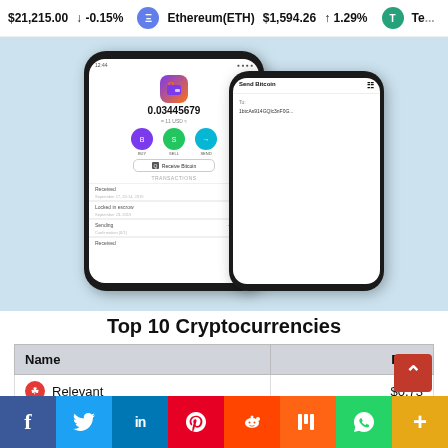$21,215.00 ▼ -0.15%   Ethereum(ETH) $1,594.26 ▲ 1.29%   Te...
[Figure (screenshot): Two smartphone mockups showing a cryptocurrency wallet application. The main phone shows a balance of 0.03445679 with BUY, SELL, SEND action buttons and a Receive Bitcoin option, along with transaction history (Received, Locked in escrow 0.31, Sending -0.00549..., Received). The secondary phone shows a Send Bitcoin screen with a wallet address.]
Top 10 Cryptocurrencies
| Name | Price |
| --- | --- |
| Relevant | $0.73 |
| Heart Number | $0.000553 |
| Tadpole | $7.32 |
| Cage | $0.005010 |